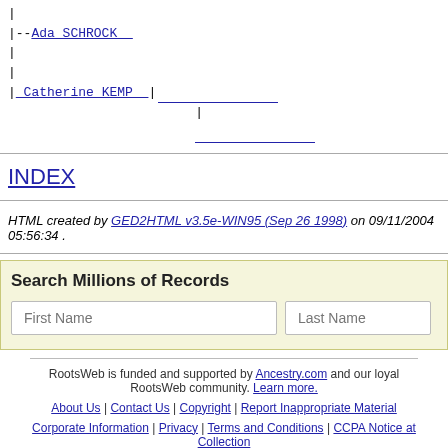|--Ada SCHROCK
|
|
| Catherine KEMP |
INDEX
HTML created by GED2HTML v3.5e-WIN95 (Sep 26 1998) on 09/11/2004 05:56:34 .
[Figure (other): Search Millions of Records form with First Name and Last Name input fields]
RootsWeb is funded and supported by Ancestry.com and our loyal RootsWeb community. Learn more.
About Us | Contact Us | Copyright | Report Inappropriate Material
Corporate Information | Privacy | Terms and Conditions | CCPA Notice at Collection